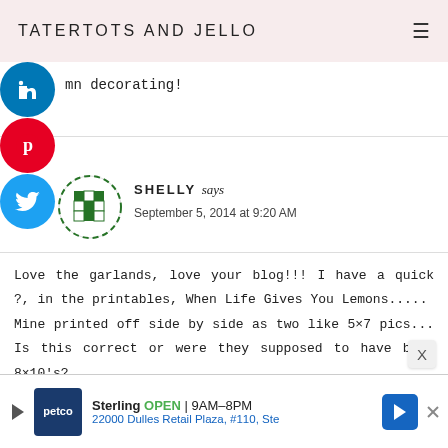TATERTOTS AND JELLO
mn decorating!
SHELLY says
September 5, 2014 at 9:20 AM
Love the garlands, love your blog!!! I have a quick ?, in the printables, When Life Gives You Lemons.....
Mine printed off side by side as two like 5×7 pics... Is this correct or were they supposed to have been 8×10's?